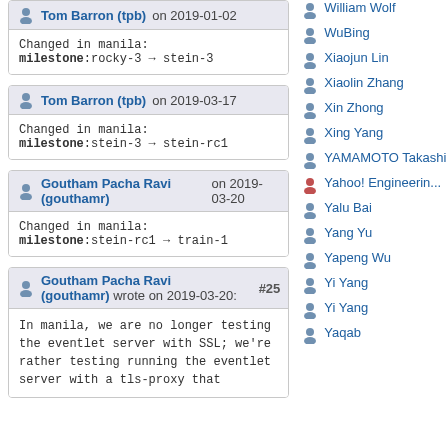Tom Barron (tpb) on 2019-01-02 — Changed in manila: milestone:rocky-3 → stein-3
Tom Barron (tpb) on 2019-03-17 — Changed in manila: milestone:stein-3 → stein-rc1
Goutham Pacha Ravi (gouthamr) on 2019-03-20 — Changed in manila: milestone:stein-rc1 → train-1
Goutham Pacha Ravi (gouthamr) wrote on 2019-03-20 #25: In manila, we are no longer testing the eventlet server with SSL; we're rather testing running the eventlet server with a tls-proxy that
William Wolf
WuBing
Xiaojun Lin
Xiaolin Zhang
Xin Zhong
Xing Yang
YAMAMOTO Takashi
Yahoo! Engineerin...
Yalu Bai
Yang Yu
Yapeng Wu
Yi Yang
Yi Yang
Yaqab